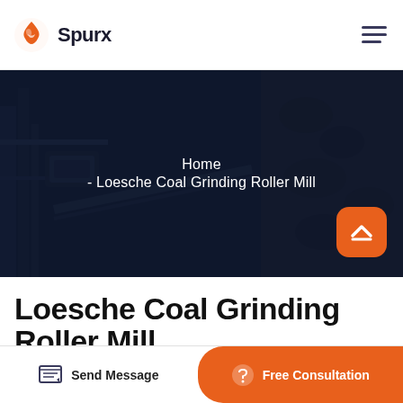Spurx
[Figure (screenshot): Dark industrial hero banner showing coal processing/grinding machinery with overlay text breadcrumb navigation: Home - Loesche Coal Grinding Roller Mill]
Home
- Loesche Coal Grinding Roller Mill
Loesche Coal Grinding Roller Mill
Send Message | Free Consultation